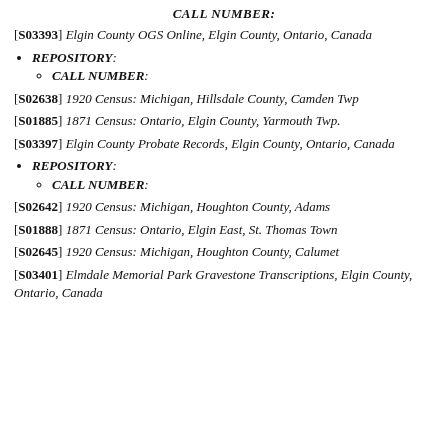CALL NUMBER:
[S03393] Elgin County OGS Online, Elgin County, Ontario, Canada
REPOSITORY:
CALL NUMBER:
[S02638] 1920 Census: Michigan, Hillsdale County, Camden Twp
[S01885] 1871 Census: Ontario, Elgin County, Yarmouth Twp.
[S03397] Elgin County Probate Records, Elgin County, Ontario, Canada
REPOSITORY:
CALL NUMBER:
[S02642] 1920 Census: Michigan, Houghton County, Adams
[S01888] 1871 Census: Ontario, Elgin East, St. Thomas Town
[S02645] 1920 Census: Michigan, Houghton County, Calumet
[S03401] Elmdale Memorial Park Gravestone Transcriptions, Elgin County, Ontario, Canada